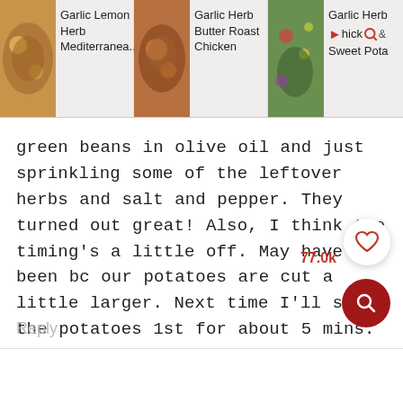[Figure (screenshot): Header bar showing three recipe cards: 'Garlic Lemon Herb Mediterranea...', 'Garlic Herb Butter Roast Chicken', and partially visible 'Garlic Herb ... hick & Sweet Pota' with a search icon overlay.]
green beans in olive oil and just sprinkling some of the leftover herbs and salt and pepper. They turned out great! Also, I think the timing’s a little off. May have been bc our potatoes are cut a little larger. Next time I’ll start the potatoes 1st for about 5 mins. In addition, we like our beans cooked a little more, so put the beans in at the same time as the chicken. Thank you for this yummy, 1 pan (2 pan for me) meal!!
Reply